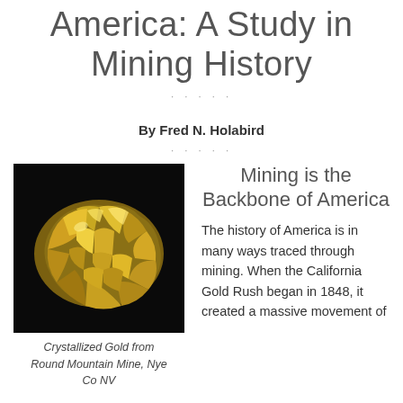America: A Study in Mining History
By Fred N. Holabird
[Figure (photo): Photograph of a crystallized gold nugget specimen against a black background, from Round Mountain Mine, Nye Co NV]
Crystallized Gold from Round Mountain Mine, Nye Co NV
Mining is the Backbone of America
The history of America is in many ways traced through mining. When the California Gold Rush began in 1848, it created a massive movement of